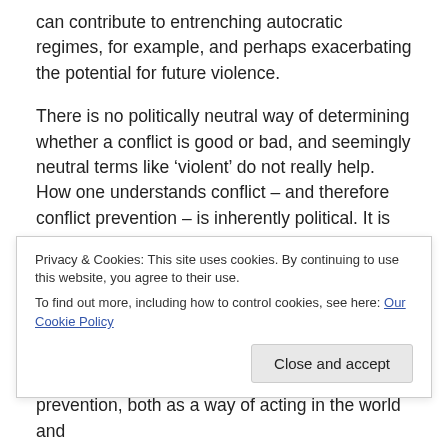can contribute to entrenching autocratic regimes, for example, and perhaps exacerbating the potential for future violence.
There is no politically neutral way of determining whether a conflict is good or bad, and seemingly neutral terms like ‘violent’ do not really help. How one understands conflict – and therefore conflict prevention – is inherently political. It is based on understanding the power relations between different actors and stakeholders in a conflict and on prioritising EU intervention, or not, in relation to the
Privacy & Cookies: This site uses cookies. By continuing to use this website, you agree to their use.
To find out more, including how to control cookies, see here: Our Cookie Policy
prevention, both as a way of acting in the world and